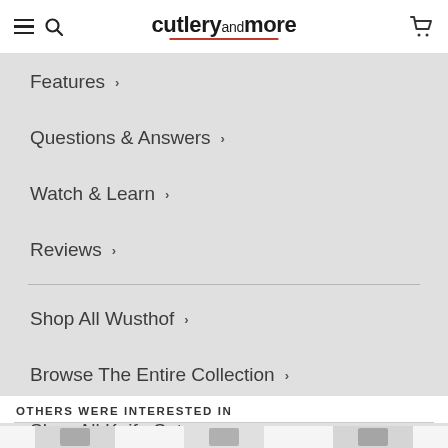cutleryandmore
Features
Questions & Answers
Watch & Learn
Reviews
Shop All Wusthof
Browse The Entire Collection
Shop All Knife Sets
OTHERS WERE INTERESTED IN
[Figure (photo): Partial thumbnail images of knife-related products cut off at the bottom of the page]